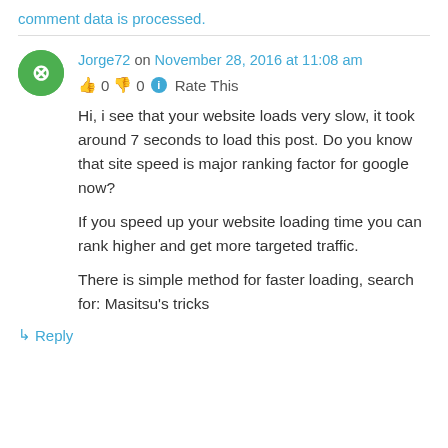comment data is processed.
Jorge72 on November 28, 2016 at 11:08 am
👍 0 👎 0 ℹ Rate This
Hi, i see that your website loads very slow, it took around 7 seconds to load this post. Do you know that site speed is major ranking factor for google now?

If you speed up your website loading time you can rank higher and get more targeted traffic.

There is simple method for faster loading, search for: Masitsu's tricks
↳ Reply